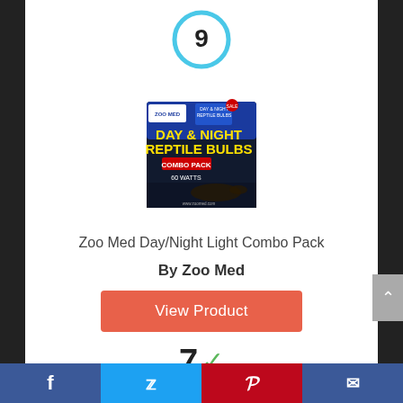[Figure (other): Rank number 9 inside a blue circle outline]
[Figure (photo): Zoo Med Day & Night Reptile Bulbs combo pack product box]
Zoo Med Day/Night Light Combo Pack
By Zoo Med
[Figure (other): Orange button labeled 'View Product']
[Figure (other): Score: 7 with a green checkmark, and a cyan 'Score' badge below]
Facebook | Twitter | Pinterest | Email social share bar